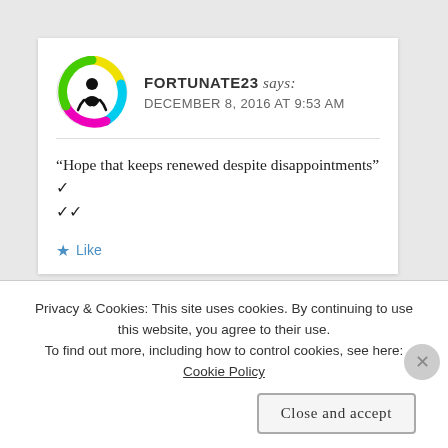[Figure (logo): Circular avatar/logo with colorful swirling design (yellow, cyan, magenta, green) and a black figure in the center]
FORTUNATE23 says: DECEMBER 8, 2016 AT 9:53 AM
“Hope that keeps renewed despite disappointments” ✓ ✓✓
★ Like
Privacy & Cookies: This site uses cookies. By continuing to use this website, you agree to their use. To find out more, including how to control cookies, see here: Cookie Policy
Close and accept